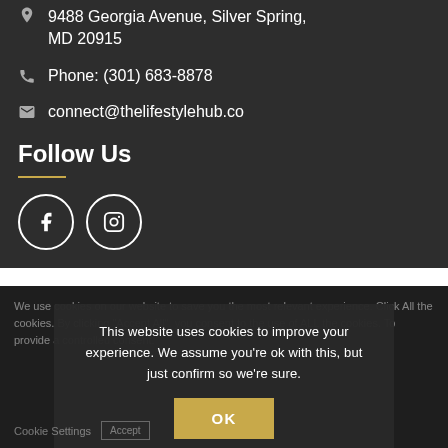9488 Georgia Avenue, Silver Spring, MD 20915
Phone: (301) 683-8878
connect@thelifestylehub.co
Follow Us
[Figure (illustration): Two circular social media icon buttons: Facebook (f) and Instagram (camera icon), white outlines on dark background]
We use cookies on our website to save you the most relevant experience. Click All the cookies. To provide a controlled consent.
This website uses cookies to improve your experience. We assume you're ok with this, but just confirm so we're sure.
Cookie Settings
OK